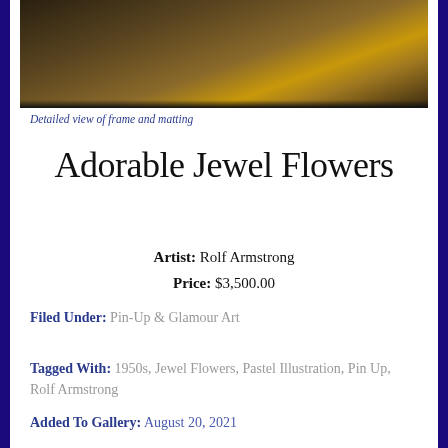[Figure (photo): Detailed close-up view of a dark brown ornate picture frame with gold accent in upper right corner]
Detailed view of frame and matting
Adorable Jewel Flowers
Artist: Rolf Armstrong
Price: $3,500.00
Filed Under: Pin-Up & Glamour Art
Tagged With: 1950s, Jewel Flowers, Pastel Illustration, Pin Up, Rolf Armstrong
Added To Gallery: August 20, 2021